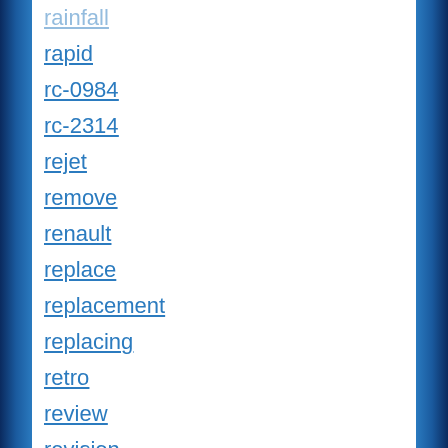rapid
rc-0984
rc-2314
rejet
remove
renault
replace
replacement
replacing
retro
review
revision
revolt
ricks